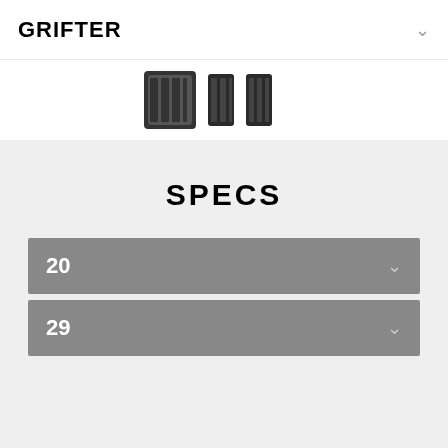GRIFTER
[Figure (photo): Partial view of tire product images (tread patterns visible) at top of page]
SPECS
20
29